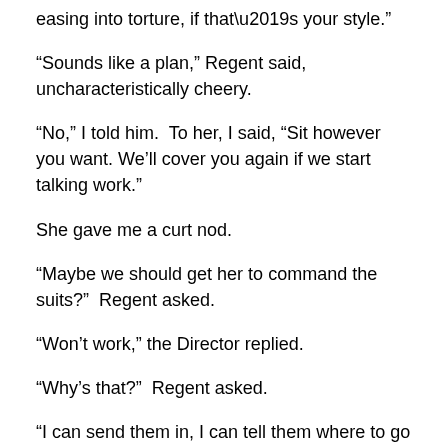easing into torture, if that’s your style.”
“Sounds like a plan,” Regent said, uncharacteristically cheery.
“No,” I told him.  To her, I said, “Sit however you want. We’ll cover you again if we start talking work.”
She gave me a curt nod.
“Maybe we should get her to command the suits?”  Regent asked.
“Won’t work,” the Director replied.
“Why’s that?”  Regent asked.
“I can send them in, I can tell them where to go or when to stand by, but they do what they’re programmed to, and